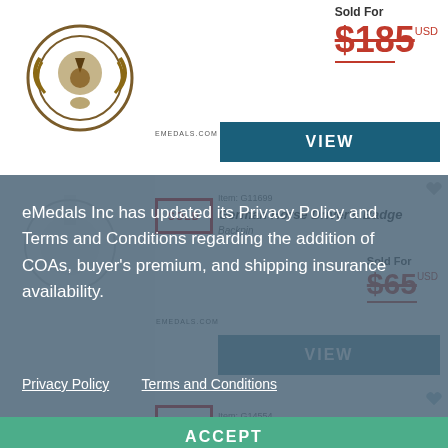[Figure (photo): Bronze medal/badge with wreath design on white background with EMEDALS.com watermark]
Sold For
$185 USD
VIEW
SOLD
Item: G11699
German Horse Driver's Badge
Backpin
Sold For
$65 USD
VIEW
eMedals Inc has updated its Privacy Policy and Terms and Conditions regarding the addition of COAs, buyer's premium, and shipping insurance availability.
Privacy Policy   Terms and Conditions
ACCEPT
SOLD
Item: G14554
A German Horseman Award...